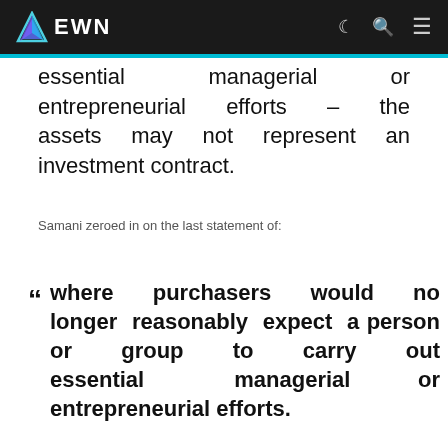EWN
essential managerial or entrepreneurial efforts – the assets may not represent an investment contract.
Samani zeroed in on the last statement of:
where purchasers would no longer reasonably expect a person or group to carry out essential managerial or entrepreneurial efforts.